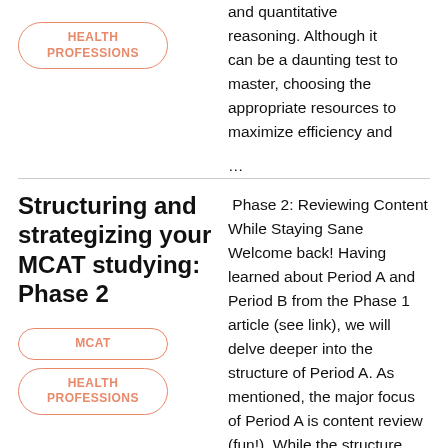and quantitative reasoning. Although it can be a daunting test to master, choosing the appropriate resources to maximize efficiency and ...
HEALTH PROFESSIONS
Structuring and strategizing your MCAT studying: Phase 2
MCAT
HEALTH PROFESSIONS
Phase 2: Reviewing Content While Staying Sane Welcome back! Having learned about Period A and Period B from the Phase 1 article (see link), we will delve deeper into the structure of Period A. As mentioned, the major focus of Period A is content review (fun!). While the structure offered by online prep